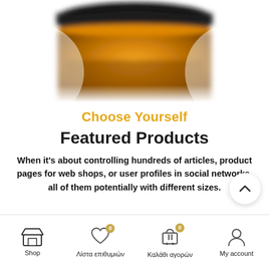[Figure (photo): Close-up blurred photo of a dark-capped amber/orange glass jar (cosmetic or food product), bottom portion visible, on white background]
Choose Yourself
Featured Products
When it's about controlling hundreds of articles, product pages for web shops, or user profiles in social networks, all of them potentially with different sizes.
Shop | Λίστα επιθυμιών 0 | Καλάθι αγορών 0 | My account